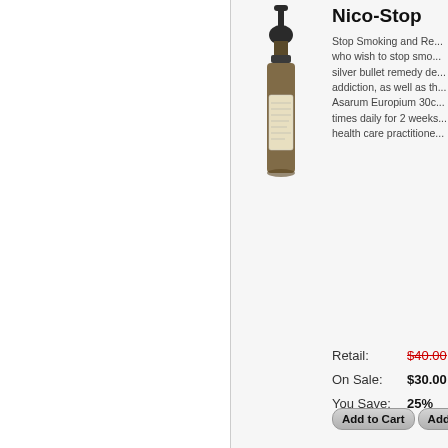[Figure (photo): Brown glass dropper bottle with label, product photo for Nico-Stop supplement]
Nico-Stop
Stop Smoking and Re... who wish to stop smo... silver bullet remedy de... addiction, as well as th... Asarum Europium 30c... times daily for 2 weeks... health care practitione...
Retail: $40.00
On Sale: $30.00
You Save: 25%
Add to Cart  Add...
Healing Yourself
ChemBuster
1 oz. A combination H... and multiple chemical... information on ChemB... evaluated by the FDA...
Retail: $27.00
On Sale: $25.00